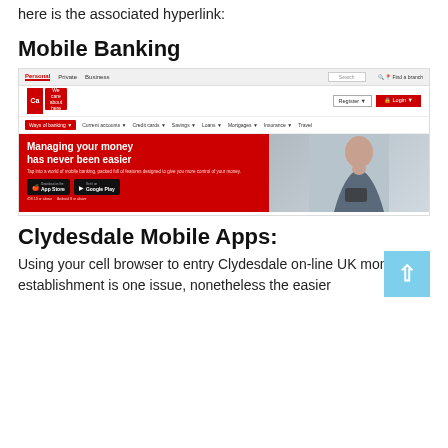here is the associated hyperlink:
Mobile Banking
[Figure (screenshot): Screenshot of Clydesdale Bank website showing Mobile Banking page with red hero banner 'Managing your money has never been easier', App Store and Google Play buttons, and benefits section]
Clydesdale Mobile Apps:
Using your cell browser to entry Clydesdale on-line UK monetary establishment is one issue, nonetheless the easier